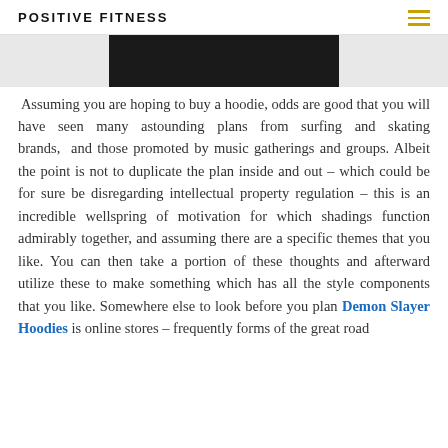POSITIVE FITNESS
[Figure (photo): Partial view of a dark-colored hoodie photograph, with light grey areas on the sides and a dark center panel]
Assuming you are hoping to buy a hoodie, odds are good that you will have seen many astounding plans from surfing and skating brands, and those promoted by music gatherings and groups. Albeit the point is not to duplicate the plan inside and out – which could be for sure be disregarding intellectual property regulation – this is an incredible wellspring of motivation for which shadings function admirably together, and assuming there are a specific themes that you like. You can then take a portion of these thoughts and afterward utilize these to make something which has all the style components that you like. Somewhere else to look before you plan Demon Slayer Hoodies is online stores – frequently forms of the great road